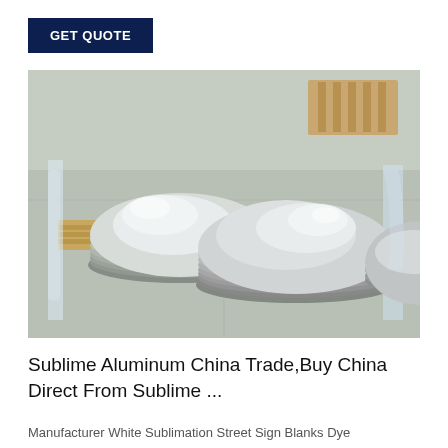GET QUOTE
[Figure (photo): Stacks of round aluminum circle blanks/discs on a wooden pallet in a warehouse, wrapped in plastic packaging. Two main stacks visible in foreground, one partial stack on right edge.]
Sublime Aluminum China Trade,Buy China Direct From Sublime ...
Manufacturer White Sublimation Street Sign Blanks Dye